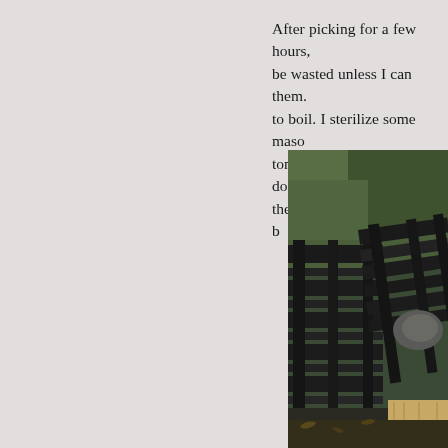After picking for a few hours, be wasted unless I can them. to boil. I sterilize some mason tomatoes?) and cook them down the preservation. Then they b
[Figure (photo): Outdoor photo showing dark wooden crates or pallets stacked, with green foliage/grass in the background and what appears to be a wooden surface in the lower right.]